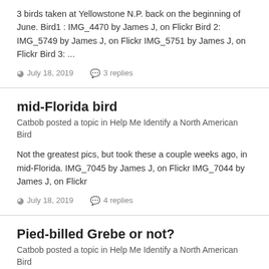3 birds taken at Yellowstone N.P. back on the beginning of June. Bird1 : IMG_4470 by James J, on Flickr Bird 2: IMG_5749 by James J, on Flickr IMG_5751 by James J, on Flickr Bird 3: ...
July 18, 2019   3 replies
mid-Florida bird
Catbob posted a topic in Help Me Identify a North American Bird
Not the greatest pics, but took these a couple weeks ago, in mid-Florida. IMG_7045 by James J, on Flickr IMG_7044 by James J, on Flickr
July 18, 2019   4 replies
Pied-billed Grebe or not?
Catbob posted a topic in Help Me Identify a North American Bird